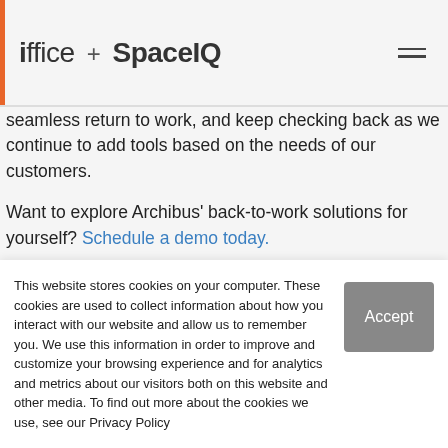ioffice + SpaceIQ
seamless return to work, and keep checking back as we continue to add tools based on the needs of our customers.
Want to explore Archibus' back-to-work solutions for yourself? Schedule a demo today.
Keep reading: Back-to-Work Planning & Employee Sentiment
Archibus Asset Management Building Maintenance...
This website stores cookies on your computer. These cookies are used to collect information about how you interact with our website and allow us to remember you. We use this information in order to improve and customize your browsing experience and for analytics and metrics about our visitors both on this website and other media. To find out more about the cookies we use, see our Privacy Policy